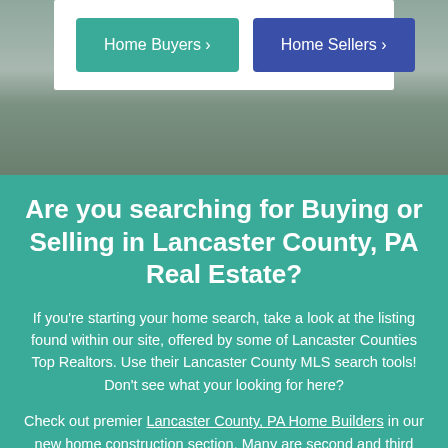[Figure (photo): Aerial/landscape photo background of farmland or countryside, partially obscured by a white card overlay at the top]
Home Buyers >
Home Sellers >
Are you searching for Buying or Selling in Lancaster County, PA Real Estate?
If you're starting your home search, take a look at the listing found within our site, offered by some of Lancaster Counties Top Realtors. Use their Lancaster County MLS search tools! Don't see what your looking for here?
Check out premier Lancaster County, PA Home Builders in our new home construction section. Many are second and third generation Lancaster builders many with Amish and Mennonite